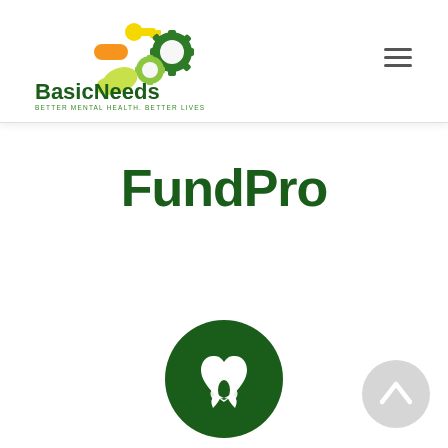[Figure (logo): BasicNeeds logo — colorful gear/molecule icons above 'BasicNeeds' text in dark green, tagline 'BETTER MENTAL HEALTH, BETTER LIVES' in small green text]
FundPro
[Figure (illustration): Dark green circle with white heart-and-plant/hands icon in the center]
[Figure (illustration): Light grey circle with white upward chevron/caret arrow icon — scroll-to-top button]